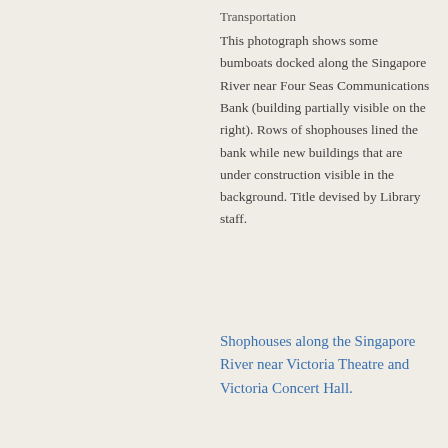Transportation
This photograph shows some bumboats docked along the Singapore River near Four Seas Communications Bank (building partially visible on the right). Rows of shophouses lined the bank while new buildings that are under construction visible in the background. Title devised by Library staff.
Shophouses along the Singapore River near Victoria Theatre and Victoria Concert Hall.